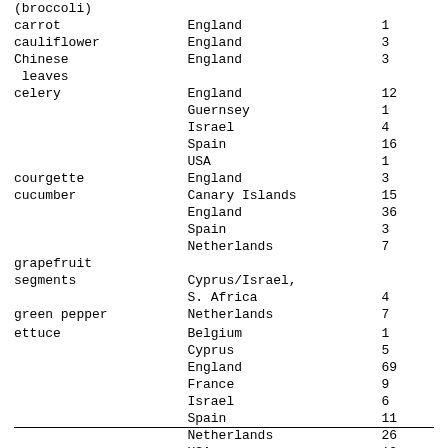| Item | Country | Value |
| --- | --- | --- |
| (broccoli) |  |  |
| carrot | England | 1 |
| cauliflower | England | 3 |
| Chinese leaves | England | 3 |
| celery | England | 12 |
|  | Guernsey | 1 |
|  | Israel | 4 |
|  | Spain | 16 |
|  | USA | 1 |
| courgette | England | 3 |
| cucumber | Canary Islands | 15 |
|  | England | 36 |
|  | Spain | 3 |
|  | Netherlands | 7 |
| grapefruit segments | Cyprus/Israel, S. Africa | 4 |
| green pepper | Netherlands | 7 |
| ettuce | Belgium | 1 |
|  | Cyprus | 5 |
|  | England | 69 |
|  | France | 9 |
|  | Israel | 6 |
|  | Spain | 11 |
|  | Netherlands | 26 |
|  | USA | 12 |